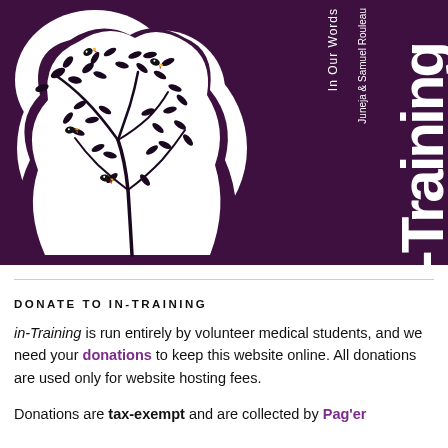[Figure (illustration): Book cover for 'in-Training: In Our Words' edited by Ajay Agrawal, Chirag Juneja & Samuel Rouleau. Dark purple background with a decorative white tree/leaf illustration featuring small colorful birds. The title text is vertical on the right side in white.]
DONATE TO IN-TRAINING
in-Training is run entirely by volunteer medical students, and we need your donations to keep this website online. All donations are used only for website hosting fees.
Donations are tax-exempt and are collected by Pager